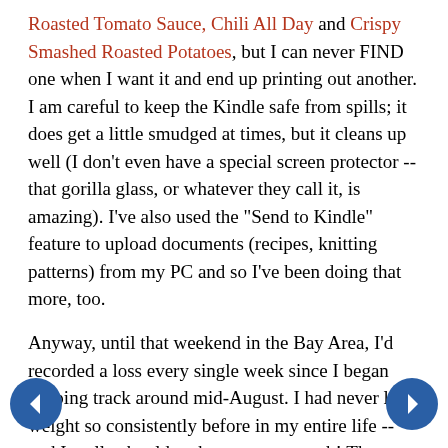Roasted Tomato Sauce, Chili All Day and Crispy Smashed Roasted Potatoes, but I can never FIND one when I want it and end up printing out another. I am careful to keep the Kindle safe from spills; it does get a little smudged at times, but it cleans up well (I don't even have a special screen protector -- that gorilla glass, or whatever they call it, is amazing). I've also used the "Send to Kindle" feature to upload documents (recipes, knitting patterns) from my PC and so I've been doing that more, too.
Anyway, until that weekend in the Bay Area, I'd recorded a loss every single week since I began keeping track around mid-August. I had never lost weight so consistently before in my entire life -- and I really should make a current graph! That week (on a different scale